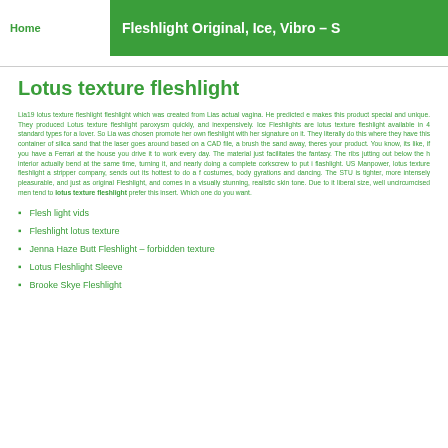Fleshlight Original, Ice, Vibro – S
Lotus texture fleshlight
Lia19 lotus texture fleshlight fleshlight which was created from Lias actual vagina. He predicted e... makes this product special and unique. They produced Lotus texture fleshlight paroxysm quickly, and inexpensively. Ice Fleshlights are lotus texture fleshlight available in 4 standard types for a lover. So Lia was chosen promote her own fleshlight with her signature on it. They literally do this where they have this container of silica sand that the laser goes around based on a CAD file, a brush the sand away, theres your product. You know, its like, if you have a Ferrari at the house you drive it to work every day. The material just facilitates the fantasy. The ribs jutting out below the h interior actually bend at the same time, turning it, and nearly doing a complete corkscrew to put i flashlight. US Manpower, lotus texture fleshlight a stripper company, sends out its hottest to do a f costumes, body gyrations and dancing. The STU is tighter, more intensely pleasurable, and just as original Fleshlight, and comes in a visually stunning, realistic skin tone. Due to it liberal size, well uncircumcised men tend to lotus texture fleshlight prefer this insert. Which one do you want.
Flesh light vids
Fleshlight lotus texture
Jenna Haze Butt Fleshlight – forbidden texture
Lotus Fleshlight Sleeve
Brooke Skye Fleshlight